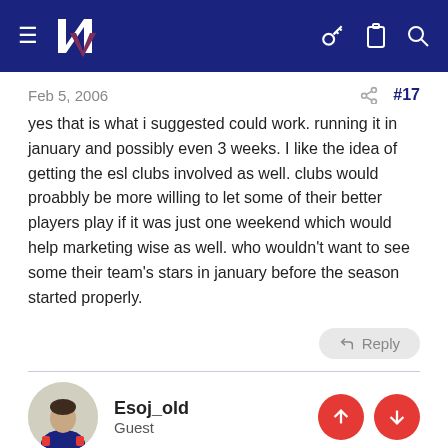NZ (logo) — navigation bar
Feb 5, 2006  #17
yes that is what i suggested could work. running it in january and possibly even 3 weeks. I like the idea of getting the esl clubs involved as well. clubs would proabbly be more willing to let some of their better players play if it was just one weekend which would help marketing wise as well. who wouldn't want to see some their team's stars in january before the season started properly.
Reply
Esoj_old
Guest
Feb 5, 2006  #18
well they both happened around the same time. I think it was more a